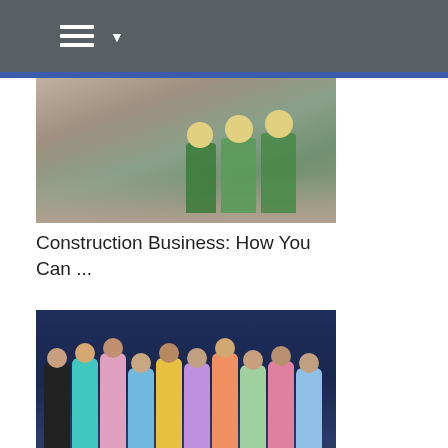Navigation menu
[Figure (photo): Construction workers in yellow high-visibility vests working outdoors with rocks/debris visible]
Construction Business: How You Can ...
[Figure (photo): Group of women in colorful outfits walking in a fashion show setting with dark blue background]
How to Organize a Successful Fashio...
[Figure (photo): Desktop with a calculator, mouse, and notepad on a wooden surface]